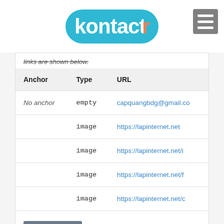kontactr
links are shown below.
| Anchor | Type | URL |
| --- | --- | --- |
| No anchor | empty | capquangbdg@gmail.co |
|  | image | https://lapinternet.net |
|  | image | https://lapinternet.net/i |
|  | image | https://lapinternet.net/f |
|  | image | https://lapinternet.net/c |
SEE MORE